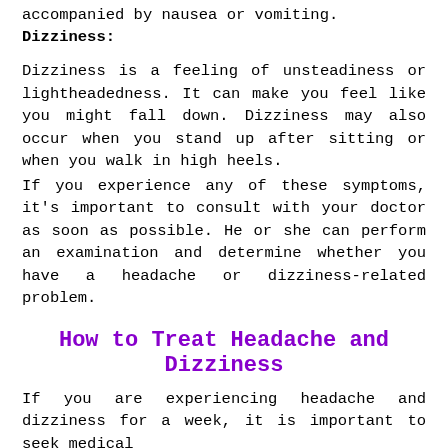accompanied by nausea or vomiting.
Dizziness:
Dizziness is a feeling of unsteadiness or lightheadedness. It can make you feel like you might fall down. Dizziness may also occur when you stand up after sitting or when you walk in high heels.
If you experience any of these symptoms, it's important to consult with your doctor as soon as possible. He or she can perform an examination and determine whether you have a headache or dizziness-related problem.
How to Treat Headache and Dizziness
If you are experiencing headache and dizziness for a week, it is important to seek medical